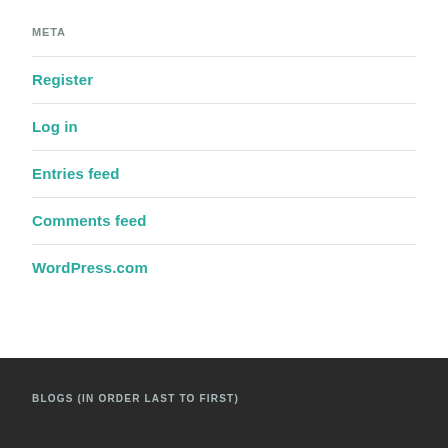META
Register
Log in
Entries feed
Comments feed
WordPress.com
BLOGS (IN ORDER LAST TO FIRST)